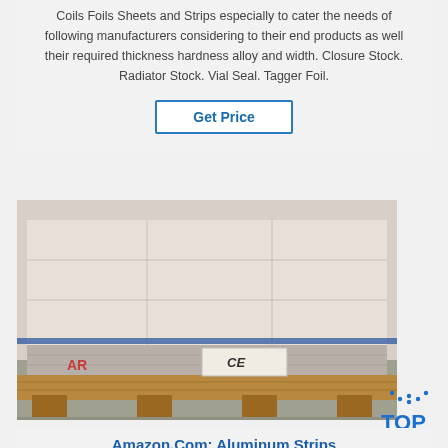Coils Foils Sheets and Strips especially to cater the needs of following manufacturers considering to their end products as well their required thickness hardness alloy and width. Closure Stock. Radiator Stock. Vial Seal. Tagger Foil.
Get Price
[Figure (photo): Photograph of aluminum sheets stacked on a wooden pallet with CE marking label visible on the side, blue strapping, taken outdoors on concrete ground.]
[Figure (logo): TOP logo with dotted arc above the letters TOP in blue]
Amazon.Com: Aluminum Strips